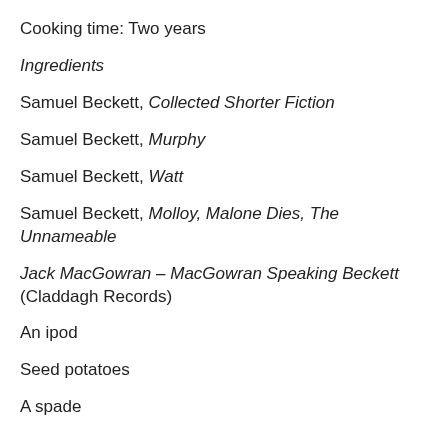Cooking time: Two years
Ingredients
Samuel Beckett, Collected Shorter Fiction
Samuel Beckett, Murphy
Samuel Beckett, Watt
Samuel Beckett, Molloy, Malone Dies, The Unnameable
Jack MacGowran – MacGowran Speaking Beckett (Claddagh Records)
An ipod
Seed potatoes
A spade